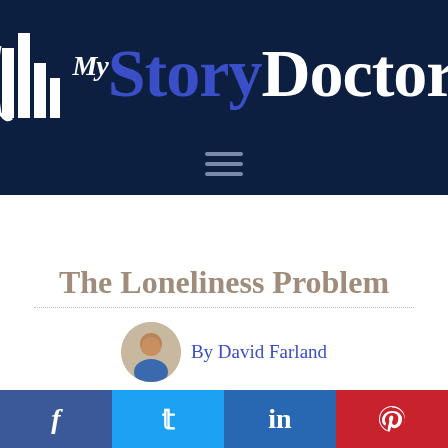[Figure (logo): My Story Doctor website logo with bar chart icon and stylized text on dark navy background]
The Loneliness Problem
By David Farland
Posted on July 1, 2015
[Figure (infographic): Social media sharing bar with Facebook, Twitter, LinkedIn, and Pinterest buttons]